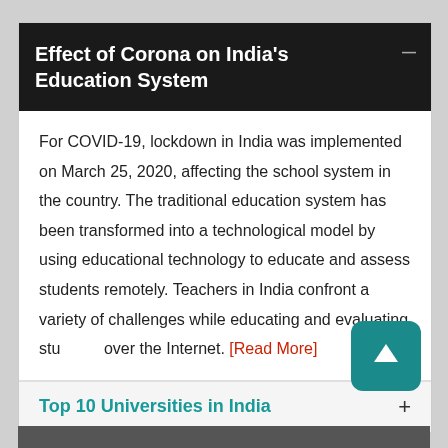Effect of Corona on India's Education System
For COVID-19, lockdown in India was implemented on March 25, 2020, affecting the school system in the country. The traditional education system has been transformed into a technological model by using educational technology to educate and assess students remotely. Teachers in India confront a variety of challenges while educating and evaluating students over the Internet. [Read More]
Top 10 Universities in India